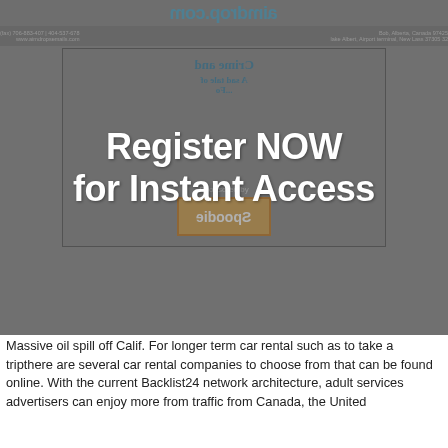[Figure (screenshot): A mirrored/flipped screenshot of a newspaper-style website (aimdrop.com) showing a 'Crime and...' article with 'A sad tale of...' subtitle, a sponsor logo (Spoodie), right-side metadata, and a 'Register NOW for Instant Access' overlay on top.]
Massive oil spill off Calif. For longer term car rental such as to take a tripthere are several car rental companies to choose from that can be found online. With the current Backlist24 network architecture, adult services advertisers can enjoy more from traffic from Canada, the United